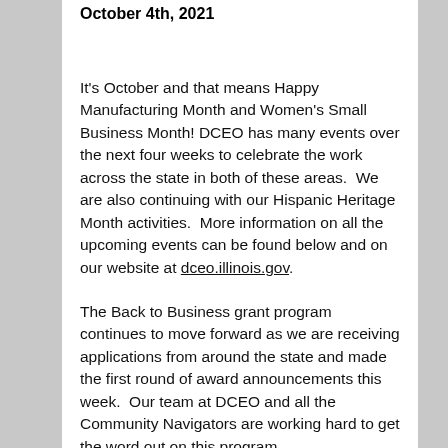October 4th, 2021
It's October and that means Happy Manufacturing Month and Women's Small Business Month! DCEO has many events over the next four weeks to celebrate the work across the state in both of these areas.  We are also continuing with our Hispanic Heritage Month activities.  More information on all the upcoming events can be found below and on our website at dceo.illinois.gov.
The Back to Business grant program continues to move forward as we are receiving applications from around the state and made the first round of award announcements this week.  Our team at DCEO and all the Community Navigators are working hard to get the word out on this program